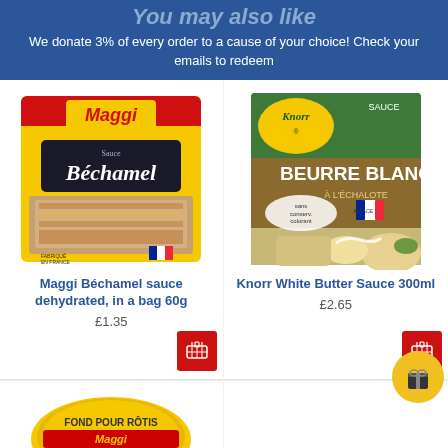You may also like
We donate 3% of every order to a cause of your choice! Check your emails to redeem
[Figure (photo): Maggi Béchamel sauce dehydrated packet, yellow and black packaging showing lasagne dish]
Maggi Béchamel sauce dehydrated, in a bag 60g
£1.35
[Figure (photo): Knorr White Butter Sauce Beurre Blanc 300ml carton, green and brown packaging showing fish dish]
Knorr White Butter Sauce 300ml
£2.65
[Figure (photo): Maggi Fond Pour Rôtis tin, yellow circular packaging, partially visible at bottom]